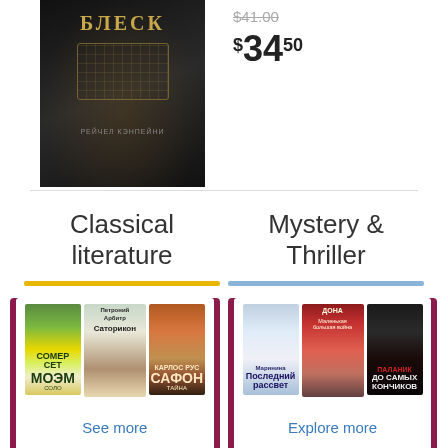[Figure (photo): Book cover with Cyrillic title 'БЛЕСК' on dark background with ornamental cage design, by РЕЙЧЕЛ КЭНПЕЙНИ]
$41.00 (strikethrough)
$34.50
Classical literature
Mystery & Thriller
[Figure (photo): Three book covers for Classical literature: МОЭМ, Саторикон, САФОН]
See more
[Figure (photo): Three book covers for Mystery & Thriller: Последний рассвет (Маринина), Дона, До самых кончиков (Паланик)]
Explore more